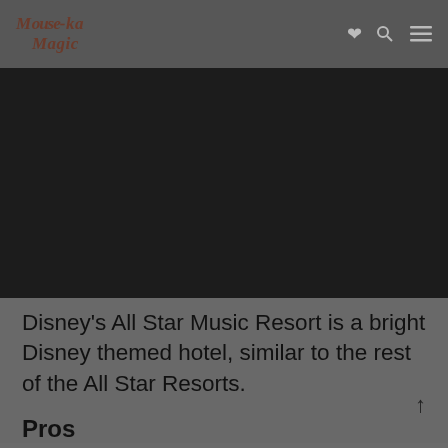Mouse-ka Magic
[Figure (photo): Dark hero image area, appears to be a photo of Disney's All Star Music Resort (mostly dark/black)]
Disney's All Star Music Resort is a bright Disney themed hotel, similar to the rest of the All Star Resorts.
Pros